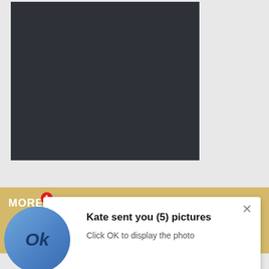[Figure (screenshot): Dark gray/charcoal colored rectangular block representing a video or image placeholder area]
MORE
[Figure (screenshot): White popup notification card with blue circle avatar showing 'Ok', title 'Kate sent you (5) pictures', subtitle 'Click OK to display the photo', close X button, and 'Ads By ClickAdilla a1h' footer text]
SPONS…